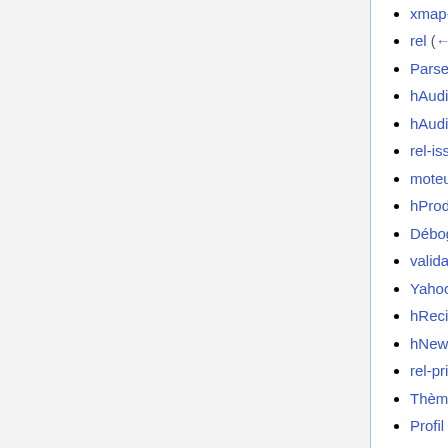rel  (← links)
Parseurs Microformats  (← links)
hAudio 0.9  (← links)
hAudio anti-sèche  (← links)
rel-issues-fr  (← links)
moteurs de recherche  (← links)
hProduct  (← links)
Débogage Microformats  (← links)
validateurs microformats  (← links)
Yahoo Recherche  (← links)
hRecipe 0.22  (← links)
hNews 0.1  (← links)
rel-principles 0.1  (← links)
Thèmes WordPress Themes  (← links)
Profil rel-tag  (← links)
rel-tag Exemples dans la jungle  (← links)
microtron-fr  (← links)